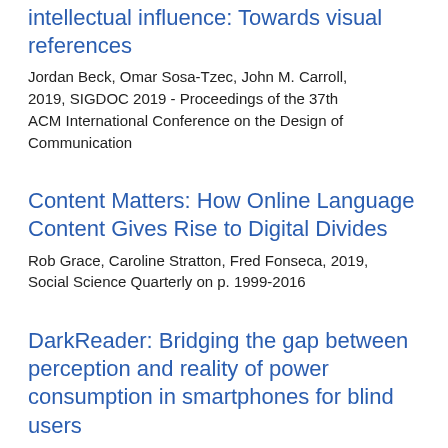intellectual influence: Towards visual references
Jordan Beck, Omar Sosa-Tzec, John M. Carroll, 2019, SIGDOC 2019 - Proceedings of the 37th ACM International Conference on the Design of Communication
Content Matters: How Online Language Content Gives Rise to Digital Divides
Rob Grace, Caroline Stratton, Fred Fonseca, 2019, Social Science Quarterly on p. 1999-2016
DarkReader: Bridging the gap between perception and reality of power consumption in smartphones for blind users